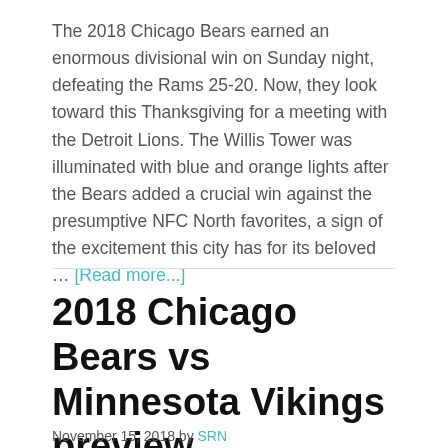The 2018 Chicago Bears earned an enormous divisional win on Sunday night, defeating the Rams 25-20. Now, they look toward this Thanksgiving for a meeting with the Detroit Lions. The Willis Tower was illuminated with blue and orange lights after the Bears added a crucial win against the presumptive NFC North favorites, a sign of the excitement this city has for its beloved … [Read more...]
2018 Chicago Bears vs Minnesota Vikings preview
November 15, 2018 by SRN